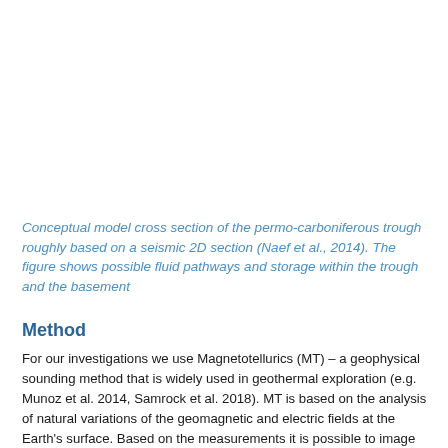Conceptual model cross section of the permo-carboniferous trough roughly based on a seismic 2D section (Naef et al., 2014). The figure shows possible fluid pathways and storage within the trough and the basement
Method
For our investigations we use Magnetotellurics (MT) – a geophysical sounding method that is widely used in geothermal exploration (e.g. Munoz et al. 2014, Samrock et al. 2018). MT is based on the analysis of natural variations of the geomagnetic and electric fields at the Earth's surface. Based on the measurements it is possible to image the 3-D electrical conductivity structure of the subsurface down to a few tens of kilometers.